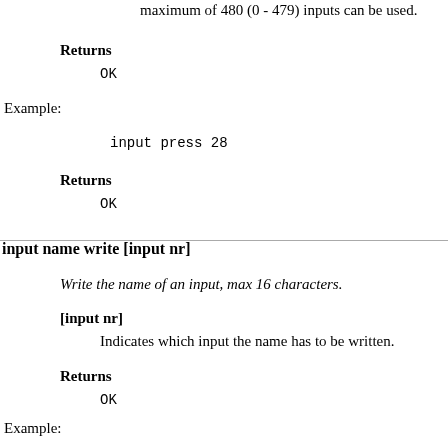maximum of 480 (0 - 479) inputs can be used.
Returns
OK
Example:
input press 28
Returns
OK
input name write [input nr]
Write the name of an input, max 16 characters.
[input nr]
Indicates which input the name has to be written.
Returns
OK
Example: